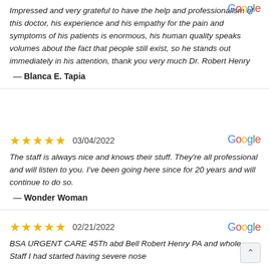Impressed and very grateful to have the help and professionalism of this doctor, his experience and his empathy for the pain and symptoms of his patients is enormous, his human quality speaks volumes about the fact that people still exist, so he stands out immediately in his attention, thank you very much Dr. Robert Henry
— Blanca E. Tapia
[Figure (other): Google logo top right of first review]
03/04/2022
[Figure (other): 5 gold stars rating]
[Figure (other): Google logo top right of second review]
The staff is always nice and knows their stuff. They're all professional and will listen to you. I've been going here since for 20 years and will continue to do so.
— Wonder Woman
02/21/2022
[Figure (other): 5 gold stars rating]
[Figure (other): Google logo top right of third review]
BSA URGENT CARE 45Th abd Bell Robert Henry PA and whole Staff I had started having severe nose bleeds and...